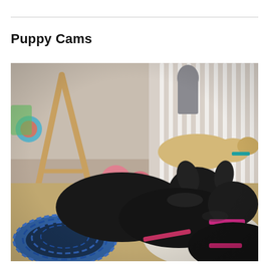Puppy Cams
[Figure (photo): A photo of several puppies in an indoor pen area. Two or three black puppies wearing pink collars/harnesses are in the foreground lying on a blue circular dog bed and white blanket. A lighter-colored tan/cream puppy with a teal collar is visible in the background near a white crib rail or fence. Colorful toys and a wooden structure are visible to the left. The setting appears to be a puppy nursery or whelping area.]